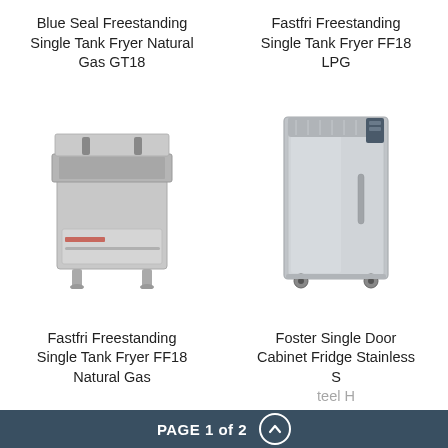Blue Seal Freestanding Single Tank Fryer Natural Gas GT18
Fastfri Freestanding Single Tank Fryer FF18 LPG
[Figure (photo): Blue Seal freestanding single tank gas fryer with stainless steel body and basket handles visible]
[Figure (photo): Foster single door upright cabinet fridge in stainless steel finish]
Fastfri Freestanding Single Tank Fryer FF18 Natural Gas
Foster Single Door Cabinet Fridge Stainless Steel H
PAGE 1 of 2